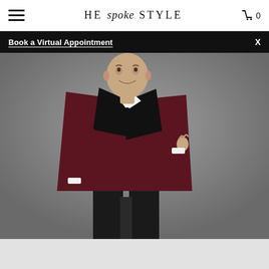HE spoke STYLE  🛒 0
Book a Virtual Appointment  X
[Figure (photo): A man wearing a dark burgundy/maroon tuxedo jacket with black shawl lapels, black bow tie, white dress shirt with studs, black cummerbund, and black trousers. He is smiling and posing against a gray studio background.]